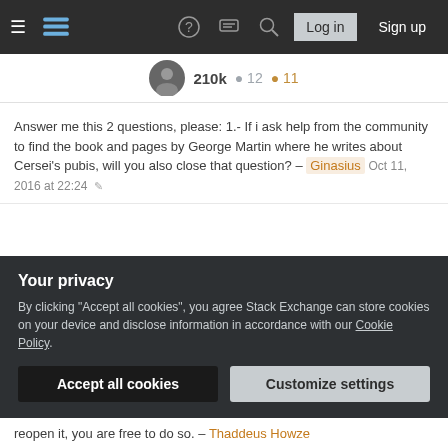Stack Exchange navigation bar with hamburger menu, logo, help, chat, search icons, Log in and Sign up buttons
210k 12 11
Answer me this 2 questions, please: 1.- If i ask help from the community to find the book and pages by George Martin where he writes about Cersei's pubis, will you also close that question? – Ginasius Oct 11, 2016 at 22:24
2 and 2: those reasons to close a question (promoting intelligent and useful discourse etcetera) are not equally valid for trivial questions about eyebrows? Should these questions also be deleted? – Ginasius Oct 11, 2016 at 22:26
Your privacy
By clicking "Accept all cookies", you agree Stack Exchange can store cookies on your device and disclose information in accordance with our Cookie Policy.
Accept all cookies
Customize settings
reopen it, you are free to do so. – Thaddeus Howze